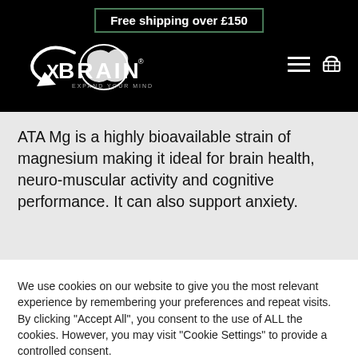Free shipping over £150
[Figure (logo): XBrain - Expand Your Mind logo with stylized brain graphic, white on black background]
ATA Mg is a highly bioavailable strain of magnesium making it ideal for brain health, neuro-muscular activity and cognitive performance. It can also support anxiety.
We use cookies on our website to give you the most relevant experience by remembering your preferences and repeat visits. By clicking "Accept All", you consent to the use of ALL the cookies. However, you may visit "Cookie Settings" to provide a controlled consent.